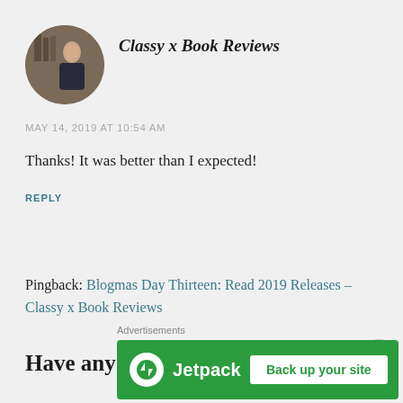[Figure (photo): Circular avatar photo of a person in a bookstore/library setting]
Classy x Book Reviews
MAY 14, 2019 AT 10:54 AM
Thanks! It was better than I expected!
REPLY
Pingback: Blogmas Day Thirteen: Read 2019 Releases – Classy x Book Reviews
Have any thoughts?
Advertisements
[Figure (screenshot): Jetpack advertisement banner with 'Back up your site' button on green background]